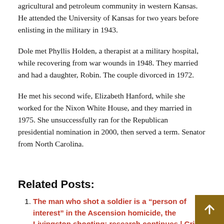agricultural and petroleum community in western Kansas. He attended the University of Kansas for two years before enlisting in the military in 1943.
Dole met Phyllis Holden, a therapist at a military hospital, while recovering from war wounds in 1948. They married and had a daughter, Robin. The couple divorced in 1972.
He met his second wife, Elizabeth Hanford, while she worked for the Nixon White House, and they married in 1975. She unsuccessfully ran for the Republican presidential nomination in 2000, then served a term. Senator from North Carolina.
Related Posts:
The man who shot a soldier is a “person of interest” in the Ascension homicide, the Livingston shooting; research continues | Crime / Police
FLORIDA STATE: No.6 women’s football Duke secures